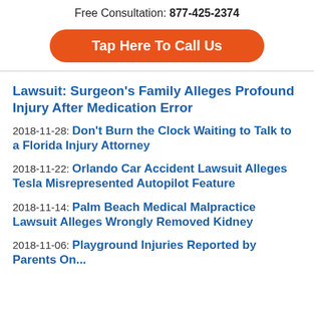Free Consultation: 877-425-2374
[Figure (other): Orange rounded button: Tap Here To Call Us]
Lawsuit: Surgeon's Family Alleges Profound Injury After Medication Error
2018-11-28: Don't Burn the Clock Waiting to Talk to a Florida Injury Attorney
2018-11-22: Orlando Car Accident Lawsuit Alleges Tesla Misrepresented Autopilot Feature
2018-11-14: Palm Beach Medical Malpractice Lawsuit Alleges Wrongly Removed Kidney
2018-11-06: Playground Injuries Reported by Parents On...